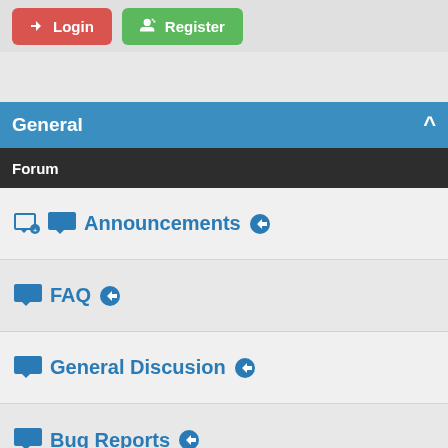Login  Register
General
Forum
Announcements
FAQ
General Discusion
Bug Reports